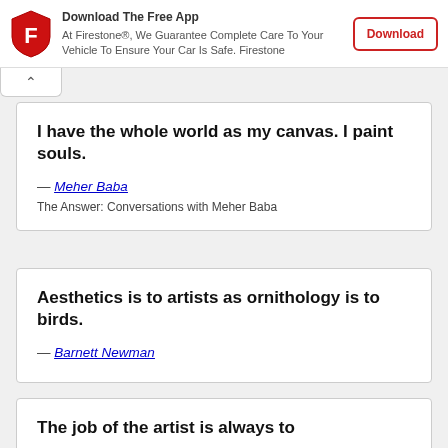[Figure (infographic): Firestone app ad banner with red shield logo, text 'Download The Free App - At Firestone®, We Guarantee Complete Care To Your Vehicle To Ensure Your Car Is Safe. Firestone', and a red-outlined Download button]
I have the whole world as my canvas. I paint souls.
— Meher Baba
The Answer: Conversations with Meher Baba
Aesthetics is to artists as ornithology is to birds.
— Barnett Newman
The job of the artist is always to